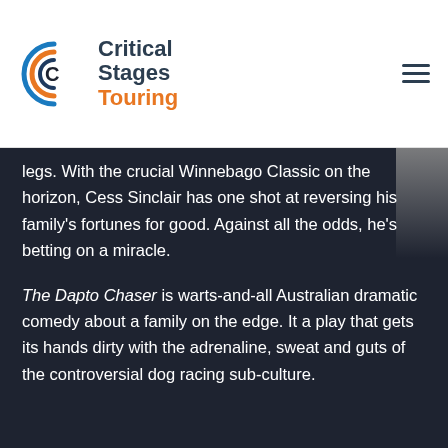[Figure (logo): Critical Stages Touring logo with circular C icon in blue/orange and text 'Critical Stages Touring']
legs. With the crucial Winnebago Classic on the horizon, Cess Sinclair has one shot at reversing his family's fortunes for good. Against all the odds, he's betting on a miracle.
The Dapto Chaser is warts-and-all Australian dramatic comedy about a family on the edge. It a play that gets its hands dirty with the adrenaline, sweat and guts of the controversial dog racing sub-culture.